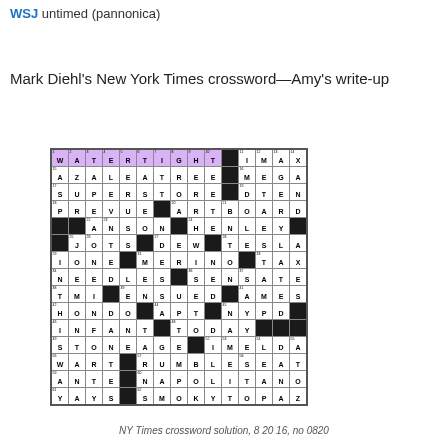WSJ untimed (pannonica)
Mark Diehl's New York Times crossword—Amy's write-up
[Figure (other): NY Times crossword solution grid for puzzle no. 0820, dated 8 20 16. The top row is highlighted in purple and reads WATERTIGHT. Other answers include AZALEATREE, SUPERSTORE, PREVUE, ART, BOARD, ANSON, HENLEY, JOTS, DEW, TESLA, IONE, MERINO, TAX, NEEDLES, SENSATE, TMI, ENSUED, AMES, HONDO, APT, NYPD, INFANT, TODAY, STONEAGE, IMELDA, WART, RUMBLESEAT, ANTE, NAPOLITANO, YAYS, SMOKYOPAZ, IMAX, MEGA, DTEN.]
NY Times crossword solution, 8 20 16, no 0820